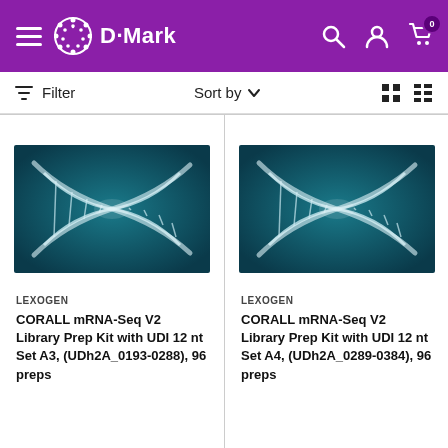[Figure (screenshot): D-Mark e-commerce website header with purple background, hamburger menu, D-Mark logo with circular flower icon, search, account, and cart icons]
Filter   Sort by ∨
[Figure (photo): DNA double helix illustration on blue background - product image for CORALL mRNA-Seq V2 Library Prep Kit left product]
LEXOGEN
CORALL mRNA-Seq V2 Library Prep Kit with UDI 12 nt Set A3, (UDh2A_0193-0288), 96 preps
[Figure (photo): DNA double helix illustration on blue background - product image for CORALL mRNA-Seq V2 Library Prep Kit right product]
LEXOGEN
CORALL mRNA-Seq V2 Library Prep Kit with UDI 12 nt Set A4, (UDh2A_0289-0384), 96 preps